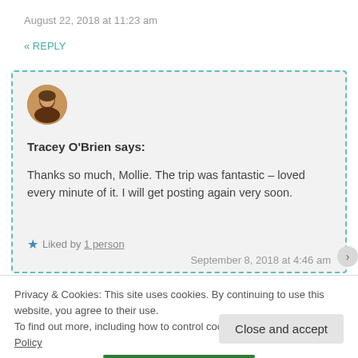August 22, 2018 at 11:23 am
« REPLY
[Figure (photo): Circular avatar photo of a person]
Tracey O'Brien says:
Thanks so much, Mollie. The trip was fantastic – loved every minute of it. I will get posting again very soon.
★ Liked by 1 person
September 8, 2018 at 4:46 am
Privacy & Cookies: This site uses cookies. By continuing to use this website, you agree to their use.
To find out more, including how to control cookies, see here: Cookie Policy
Close and accept